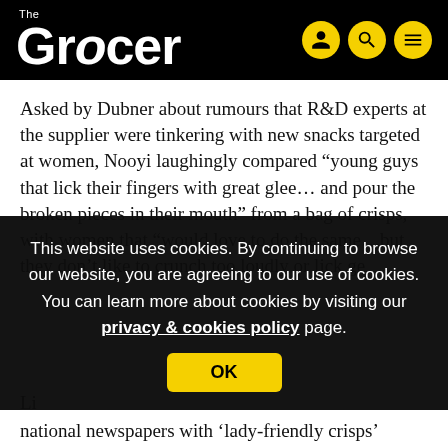The Grocer
Asked by Dubner about rumours that R&D experts at the supplier were tinkering with new snacks targeted at women, Nooyi laughingly compared “young guys that lick their fingers with great glee… and pour the broken pieces in their mouth” from a bag of crisps, with women that “would love to do the same…but they don’t like to crunch too loudly or lick ge
This website uses cookies. By continuing to browse our website, you are agreeing to our use of cookies. You can learn more about cookies by visiting our privacy & cookies policy page.
OK
Li
national newspapers with ‘lady-friendly crisps’ ridiculed